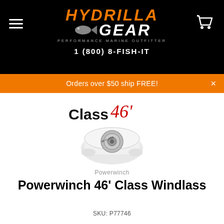HYDRILLA GEAR — PERFORMANCE MARINE OUTFITTER — 1 (800) 8-FISH-IT
Orders over $50 ship FREE!
[Figure (photo): Powerwinch 46' Class Windlass product photo showing a white compact windlass unit with a circular metal mechanism, with 'Class 46'' branding above]
Powerwinch
Powerwinch 46' Class Windlass
SKU: P77746